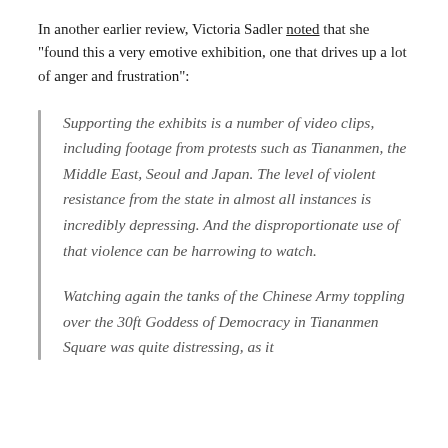In another earlier review, Victoria Sadler noted that she "found this a very emotive exhibition, one that drives up a lot of anger and frustration":
Supporting the exhibits is a number of video clips, including footage from protests such as Tiananmen, the Middle East, Seoul and Japan. The level of violent resistance from the state in almost all instances is incredibly depressing. And the disproportionate use of that violence can be harrowing to watch.
Watching again the tanks of the Chinese Army toppling over the 30ft Goddess of Democracy in Tiananmen Square was quite distressing, as it